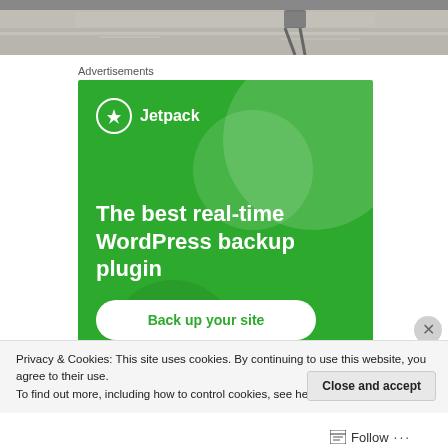[Figure (photo): Photo strip showing people walking on a wet reflective surface, cropped to top portion]
Advertisements
[Figure (illustration): Jetpack advertisement banner. Green background with decorative circles. Logo: circle with lightning bolt icon and 'Jetpack' text. Headline: 'The best real-time WordPress backup plugin'. Button: 'Back up your site']
Privacy & Cookies: This site uses cookies. By continuing to use this website, you agree to their use.
To find out more, including how to control cookies, see here: Cookie Policy
Close and accept
Follow